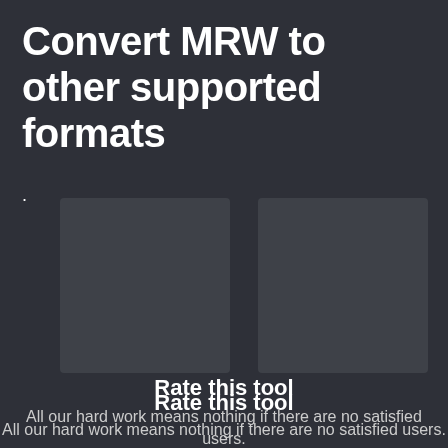Convert MRW to other supported formats
[Figure (other): Two gray placeholder thumbnail boxes side by side]
Rate this tool
All our hard work means nothing if there are no satisfied users.
[Figure (other): Five empty star rating icons in gold/yellow outline]